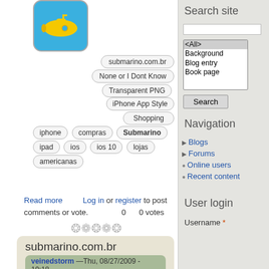[Figure (illustration): Yellow submarine icon on blue rounded square background - app icon]
submarino.com.br
None or I Dont Know
Transparent PNG
iPhone App Style
Shopping
iphone
compras
Submarino
ipad
ios
ios 10
lojas
americanas
Read more   Log in or register to post comments or vote.   0   0 votes
submarino.com.br
veinedstorm —Thu, 08/27/2009 - 19:18
Logos:
[Figure (logo): Submarino text logo in black and blue on white background]
Search site
Navigation
Blogs
Forums
Online users
Recent content
User login
Username *